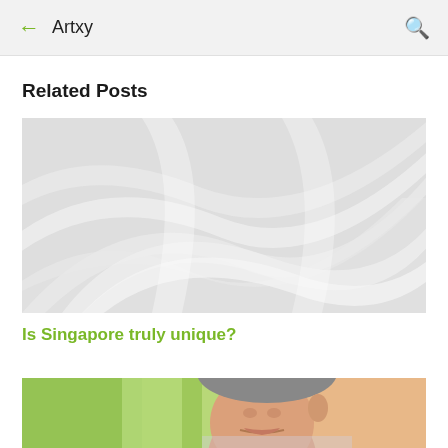← Artxy 🔍
Related Posts
[Figure (illustration): Abstract white/light grey wavy curved background image]
Is Singapore truly unique?
[Figure (photo): Partial photo of a man's face, cropped at bottom of page, with green/teal and peach/skin-tone background]